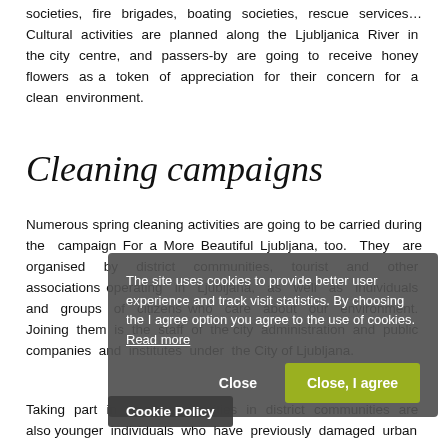societies, fire brigades, boating societies, rescue services… Cultural activities are planned along the Ljubljanica River in the city centre, and passers-by are going to receive honey flowers as a token of appreciation for their concern for a clean environment.
Cleaning campaigns
Numerous spring cleaning activities are going to be carried during the campaign For a More Beautiful Ljubljana, too. They are organised by district communities, tourist and other associations operating in Ljubljana, as well as individuals and groups of citizens who care about our environment. Joining them is the staff of the city administration and public companies and institutes under the City of Ljubljana.
Taking part in cleaning activities in district communities are also younger individuals who have previously damaged urban